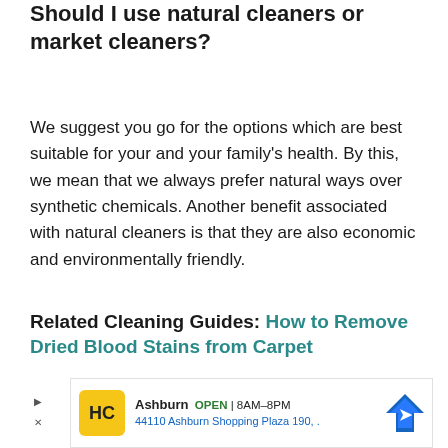Should I use natural cleaners or market cleaners?
We suggest you go for the options which are best suitable for your and your family's health. By this, we mean that we always prefer natural ways over synthetic chemicals. Another benefit associated with natural cleaners is that they are also economic and environmentally friendly.
Related Cleaning Guides: How to Remove Dried Blood Stains from Carpet
[Figure (other): Advertisement banner: HC logo on yellow background, Ashburn OPEN 8AM-8PM, 44110 Ashburn Shopping Plaza 190, with navigation arrow icon]